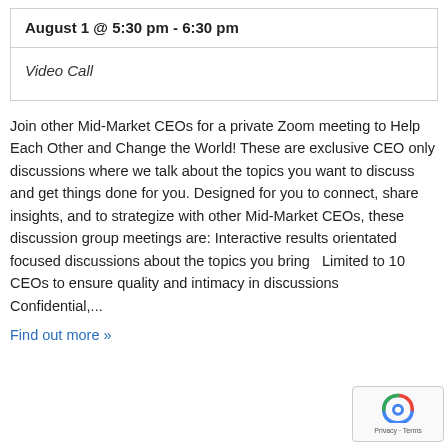| August 1 @ 5:30 pm - 6:30 pm |
| Video Call |
Join other Mid-Market CEOs for a private Zoom meeting to Help Each Other and Change the World! These are exclusive CEO only discussions where we talk about the topics you want to discuss and get things done for you. Designed for you to connect, share insights, and to strategize with other Mid-Market CEOs, these discussion group meetings are: Interactive results orientated focused discussions about the topics you bring  Limited to 10 CEOs to ensure quality and intimacy in discussions  Confidential,...
Find out more »